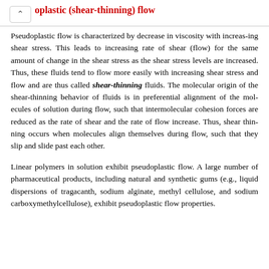oplastic (shear-thinning) flow
Pseudoplastic flow is characterized by decrease in viscosity with increas-ing shear stress. This leads to increasing rate of shear (flow) for the same amount of change in the shear stress as the shear stress levels are increased. Thus, these fluids tend to flow more easily with increasing shear stress and flow and are thus called shear-thinning fluids. The molecular origin of the shear-thinning behavior of fluids is in preferential alignment of the mol-ecules of solution during flow, such that intermolecular cohesion forces are reduced as the rate of shear and the rate of flow increase. Thus, shear thin-ning occurs when molecules align themselves during flow, such that they slip and slide past each other.
Linear polymers in solution exhibit pseudoplastic flow. A large number of pharmaceutical products, including natural and synthetic gums (e.g., liquid dispersions of tragacanth, sodium alginate, methyl cellulose, and sodium carboxymethylcellulose), exhibit pseudoplastic flow properties.